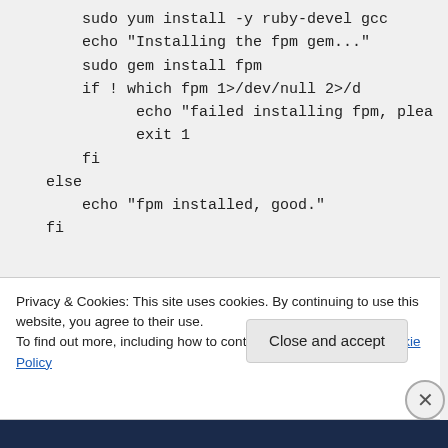sudo yum install -y ruby-devel gcc
    echo "Installing the fpm gem..."
    sudo gem install fpm
    if ! which fpm 1>/dev/null 2>/d
        echo "failed installing fpm, plea
        exit 1
    fi
else
    echo "fpm installed, good."
fi
Privacy & Cookies: This site uses cookies. By continuing to use this website, you agree to their use.
To find out more, including how to control cookies, see here: Cookie Policy
Close and accept